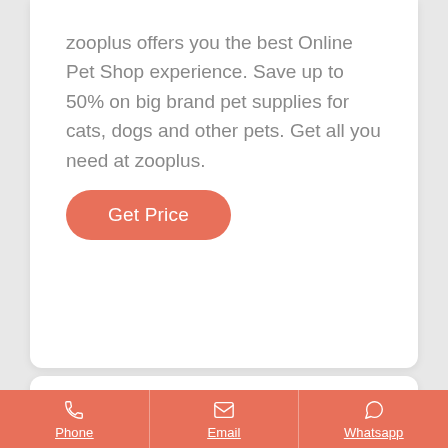zooplus offers you the best Online Pet Shop experience. Save up to 50% on big brand pet supplies for cats, dogs and other pets. Get all you need at zooplus.
[Figure (other): Orange rounded button labeled 'Get Price']
Phone | Email | Whatsapp